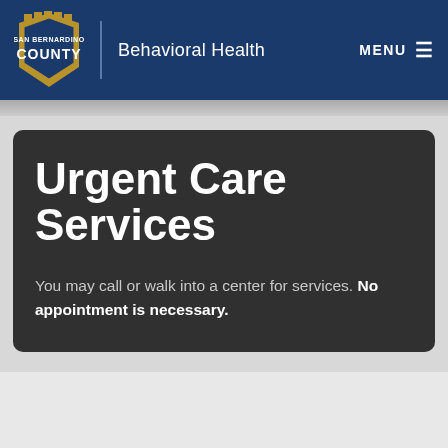[Figure (logo): San Bernardino County shield logo in gold and blue with text SAN BERNARDINO COUNTY]
Behavioral Health
Urgent Care Services
You may call or walk into a center for services. No appointment is necessary.